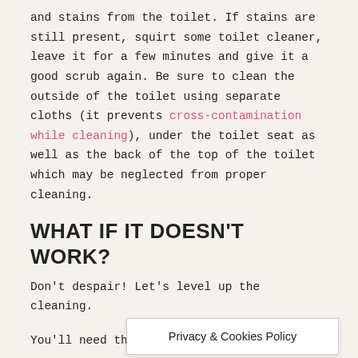and stains from the toilet. If stains are still present, squirt some toilet cleaner, leave it for a few minutes and give it a good scrub again. Be sure to clean the outside of the toilet using separate cloths (it prevents cross-contamination while cleaning), under the toilet seat as well as the back of the top of the toilet which may be neglected from proper cleaning.
WHAT IF IT DOESN'T WORK?
Don't despair! Let's level up the cleaning.
You'll need the following:
Vinegar
Privacy & Cookies Policy